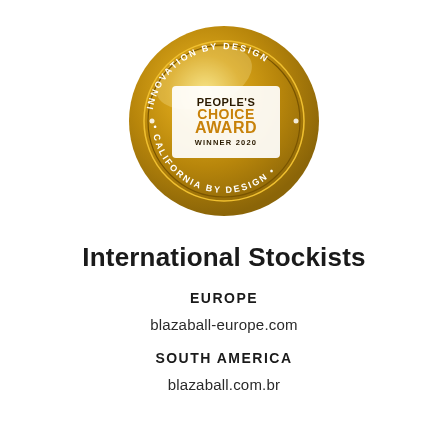[Figure (logo): People's Choice Award Winner 2020 gold medal badge with circular text reading 'INNOVATION BY DESIGN · CALIFORNIA BY DESIGN']
International Stockists
EUROPE
blazaball-europe.com
SOUTH AMERICA
blazaball.com.br